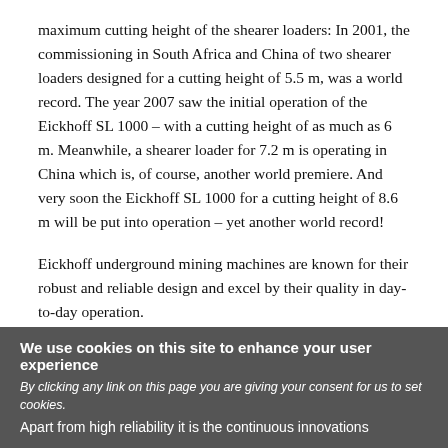maximum cutting height of the shearer loaders: In 2001, the commissioning in South Africa and China of two shearer loaders designed for a cutting height of 5.5 m, was a world record. The year 2007 saw the initial operation of the Eickhoff SL 1000 – with a cutting height of as much as 6 m. Meanwhile, a shearer loader for 7.2 m is operating in China which is, of course, another world premiere. And very soon the Eickhoff SL 1000 for a cutting height of 8.6 m will be put into operation – yet another world record!
Eickhoff underground mining machines are known for their robust and reliable design and excel by their quality in day-to-day operation.
They are more powerful, offer higher availability rates and have a significantly longer life than competing products. All
We use cookies on this site to enhance your user experience
By clicking any link on this page you are giving your consent for us to set cookies.
Apart from high reliability it is the continuous innovations